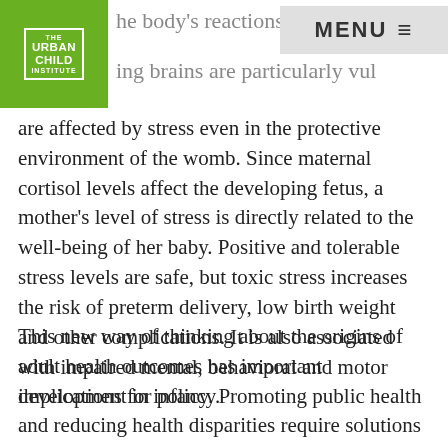the body's reactions to stress. Developing brains are particularly vulnerable, and are affected by stress even in the protective environment of the womb.
are affected by stress even in the protective environment of the womb. Since maternal cortisol levels affect the developing fetus, a mother's level of stress is directly related to the well-being of her baby. Positive and tolerable stress levels are safe, but toxic stress increases the risk of preterm delivery, low birth weight and other complications. It is also associated with impaired mental, behavioral and motor development in infancy.
This new way of thinking about the origins of adult health outcomes has important implications for policy. Promoting public health and reducing health disparities require solutions that target children's earliest years. It is clearer than ever before that